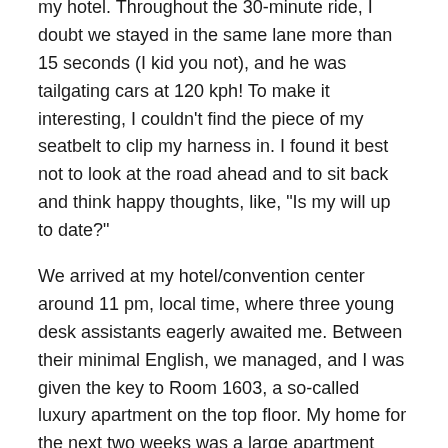my hotel. Throughout the 30-minute ride, I doubt we stayed in the same lane more than 15 seconds (I kid you not), and he was tailgating cars at 120 kph! To make it interesting, I couldn't find the piece of my seatbelt to clip my harness in. I found it best not to look at the road ahead and to sit back and think happy thoughts, like, "Is my will up to date?"
We arrived at my hotel/convention center around 11 pm, local time, where three young desk assistants eagerly awaited me. Between their minimal English, we managed, and I was given the key to Room 1603, a so-called luxury apartment on the top floor. My home for the next two weeks was a large apartment with a bedroom, a bathroom, a large lounge/dining room, and kitchen with all the appliances, a bit of glassware, but no cookware. There was also a large glassed-in balcony. Breakfast was included as was internet access, and all for about US$72/night, a very good price.
A Look at Some Sites